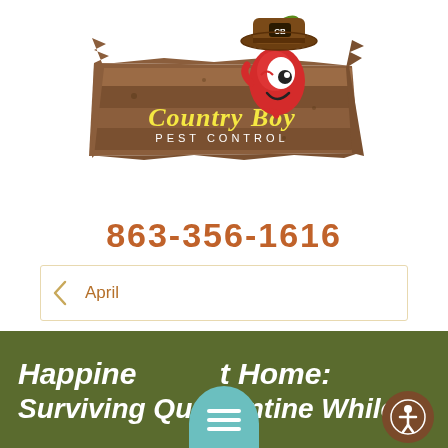[Figure (logo): Country Boy Pest Control logo: cartoon red chili pepper character wearing a brown cowboy hat with 'CB' on it, perched on a wooden plank sign reading 'Country Boy Pest Control' in yellow and white lettering on a wood-textured brown background.]
863-356-1616
April
Happiness at Home: Surviving Quarantine While